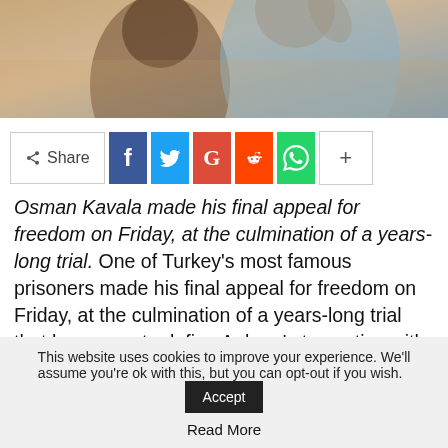[Figure (photo): Two people, one with dark beard and one older person in light blue shirt, photographed from behind/side in warm light]
[Figure (infographic): Social share bar with Share button, Facebook (f), Twitter (bird), Google (G), Reddit (alien), WhatsApp (phone), and plus (+) buttons]
Osman Kavala made his final appeal for freedom on Friday, at the culmination of a years-long trial. One of Turkey's most famous prisoners made his final appeal for freedom on Friday, at the culmination of a years-long trial that has come to define Ankara's tense ties with Western allies.
This website uses cookies to improve your experience. We'll assume you're ok with this, but you can opt-out if you wish. Accept Read More